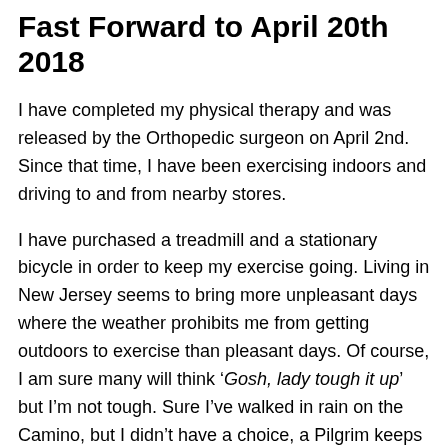Fast Forward to April 20th 2018
I have completed my physical therapy and was released by the Orthopedic surgeon on April 2nd. Since that time, I have been exercising indoors and driving to and from nearby stores.
I have purchased a treadmill and a stationary bicycle in order to keep my exercise going. Living in New Jersey seems to bring more unpleasant days where the weather prohibits me from getting outdoors to exercise than pleasant days. Of course, I am sure many will think ‘Gosh, lady tough it up’ but I’m not tough. Sure I’ve walked in rain on the Camino, but I didn’t have a choice, a Pilgrim keeps walking.
Here in Jersey and at this point in my life, I can do as I please. And I am pleased to not have the need to put...